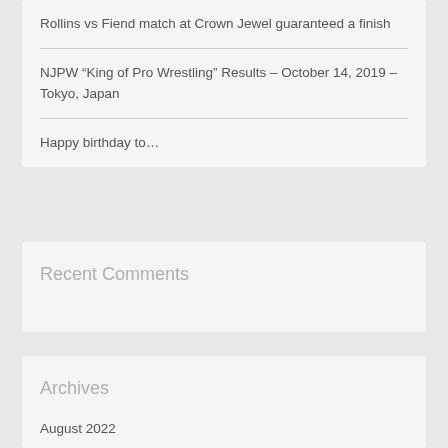Rollins vs Fiend match at Crown Jewel guaranteed a finish
NJPW “King of Pro Wrestling” Results – October 14, 2019 – Tokyo, Japan
Happy birthday to…
Recent Comments
Archives
August 2022